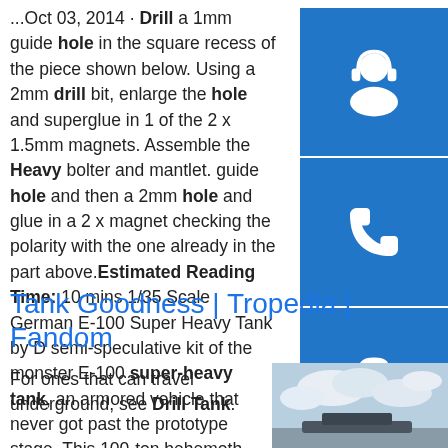...Oct 03, 2014 · Drill a 1mm guide hole in the square recess of the piece shown below. Using a 2mm drill bit, enlarge the hole and superglue in 1 of the 2 x 1.5mm magnets. Assemble the Heavy bolter and mantlet. guide hole and then a 2mm hole and glue in a 2 x magnet checking the polarity with the one already in the part above.Estimated Reading Time: 10 mins 1/35 Scale German E-100 Super Heavy Tank by D semi-speculative kit of the monster E-100 super-heavy tank, an armored vehicle that never got past the prototype stage. This 100-ton behemoth was to use the same tracks as the even more massive Maus. Tracks are link-and-length injection-molded plastic. Contains photo-etched detail parts. NOTE: Model pictured below shows the Dragon kit ...
[Figure (illustration): Blue square button with white headset/support icon]
[Figure (illustration): Blue square button with white phone/call icon]
[Figure (illustration): Blue square button with white Skype logo icon]
Tank Goodness | Tropedia | Fandom
For ones that can travel underground, see Drill Tank.
[Figure (photo): A sky with clouds, partially visible photograph]